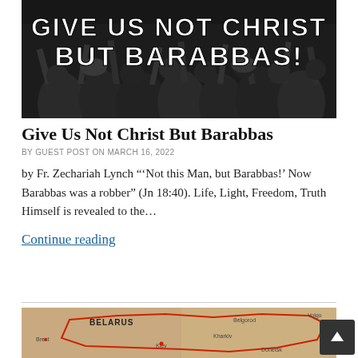[Figure (photo): Black and white image of a crowd with raised hands, overlaid with bold white text reading 'Give Us Not Christ But Barabbas!']
Give Us Not Christ But Barabbas
BY GUEST POST ON MARCH 16, 2022
by Fr. Zechariah Lynch "'Not this Man, but Barabbas!' Now Barabbas was a robber" (Jn 18:40). Life, Light, Freedom, Truth Himself is revealed to the…
Continue reading
[Figure (map): Partial map showing Belarus, Kiev, Kharkiv, Donetsk, Belgorod, Brest, Volga region with red border outline marking Ukraine]